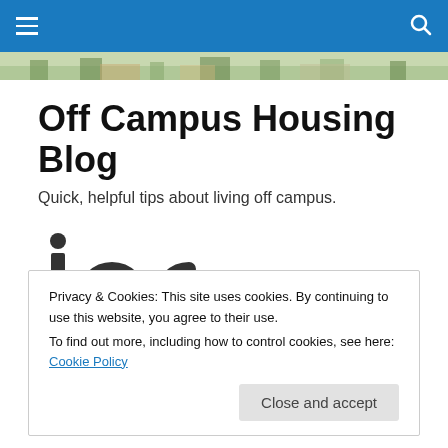Off Campus Housing Blog navigation bar
[Figure (illustration): Campus map banner image strip showing buildings and trees]
Off Campus Housing Blog
Quick, helpful tips about living off campus.
[Figure (logo): joc logo in dark gray lowercase letters with dot above j]
Privacy & Cookies: This site uses cookies. By continuing to use this website, you agree to their use.
To find out more, including how to control cookies, see here: Cookie Policy
Close and accept